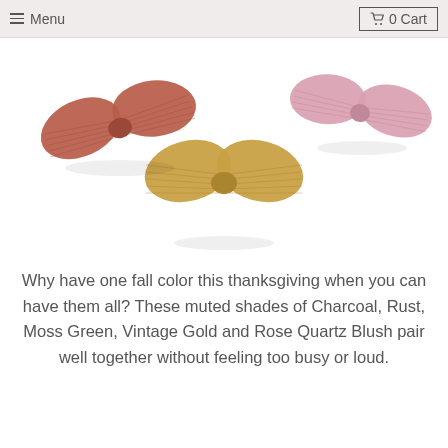≡ Menu    🛒 0 Cart
[Figure (photo): Three fabric hair bows in muted fall colors — rust/terracotta on the left, vintage gold/mustard in the center, and rose quartz blush/pink on the right — photographed on a white background.]
Why have one fall color this thanksgiving when you can have them all? These muted shades of Charcoal, Rust, Moss Green, Vintage Gold and Rose Quartz Blush pair well together without feeling too busy or loud.